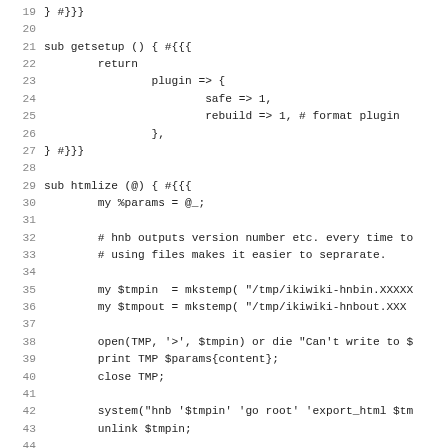Code snippet (Perl) lines 19-51: sub getsetup and sub htmlize functions